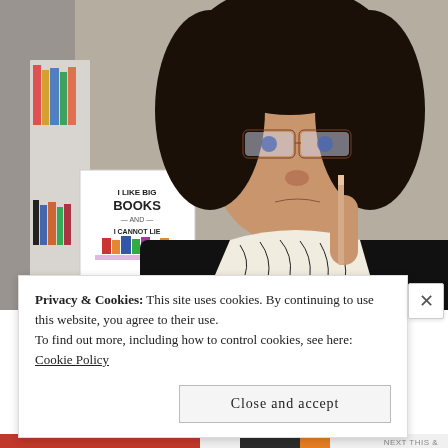[Figure (photo): A woman with curly dark hair and tortoiseshell glasses holds a pen/pencil under her chin thoughtfully. She wears a black jacket over a zebra-print top. Behind her is a bookshelf with books and a framed print reading 'I LIKE BIG BOOKS AND I CANNOT LIE'.]
Privacy & Cookies: This site uses cookies. By continuing to use this website, you agree to their use.
To find out more, including how to control cookies, see here: Cookie Policy
Close and accept